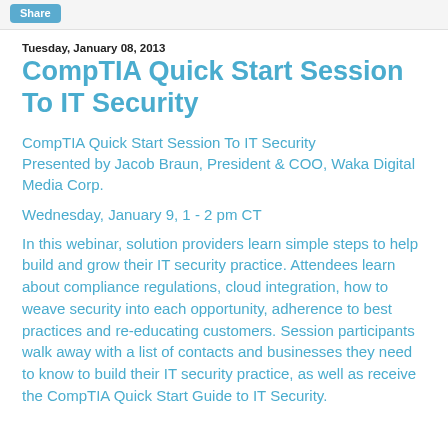Share
Tuesday, January 08, 2013
CompTIA Quick Start Session To IT Security
CompTIA Quick Start Session To IT Security Presented by Jacob Braun, President & COO, Waka Digital Media Corp.
Wednesday, January 9, 1 - 2 pm CT
In this webinar, solution providers learn simple steps to help build and grow their IT security practice. Attendees learn about compliance regulations, cloud integration, how to weave security into each opportunity, adherence to best practices and re-educating customers. Session participants walk away with a list of contacts and businesses they need to know to build their IT security practice, as well as receive the CompTIA Quick Start Guide to IT Security.